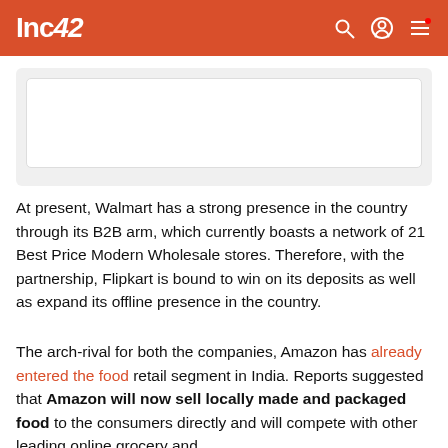Inc42
[Figure (other): Embedded card/image placeholder area with white rounded box inside a light grey container]
At present, Walmart has a strong presence in the country through its B2B arm, which currently boasts a network of 21 Best Price Modern Wholesale stores. Therefore, with the partnership, Flipkart is bound to win on its deposits as well as expand its offline presence in the country.
The arch-rival for both the companies, Amazon has already entered the food retail segment in India. Reports suggested that Amazon will now sell locally made and packaged food to the consumers directly and will compete with other leading online grocery and